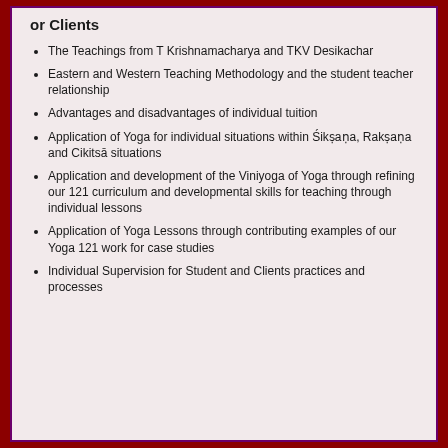or Clients
The Teachings from T Krishnamacharya and TKV Desikachar
Eastern and Western Teaching Methodology and the student teacher relationship
Advantages and disadvantages of individual tuition
Application of Yoga for individual situations within Śikṣaṇa, Rakṣaṇa and Cikitsā situations
Application and development of the Viniyoga of Yoga through refining our 121 curriculum and developmental skills for teaching through individual lessons
Application of Yoga Lessons through contributing examples of our Yoga 121 work for case studies
Individual Supervision for Student and Clients practices and processes